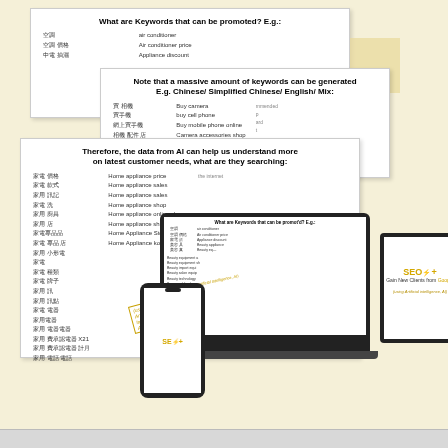[Figure (infographic): Marketing infographic showing overlapping white paper cards with SEO keyword examples in Chinese and English, plus device mockups (laptop, tablet, phone) displaying SEO+ branded content about AI-generated keywords for Google promotion. Cards show headers: 'What are Keywords that can be promoted? E.g.:', 'Note that a massive amount of keywords can be generated E.g. Chinese/Simplified Chinese/English/Mix:', and 'Therefore, the data from AI can help us understand more on latest customer needs, what are they searching:'. Devices show SEO+ logo with tagline 'Gain New Clients from Google'.]